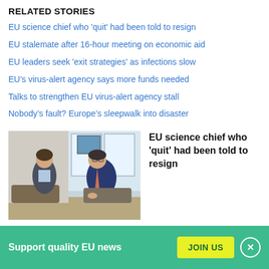RELATED STORIES
EU science chief who 'quit' had been told to resign
EU stalemate after 16-hour meeting on economic aid
EU leaders seek 'exit strategies' as infections slow
EU’s virus-alert agency says more funds needed
Talks to strengthen EU virus-alert agency stall
Nobody’s fault? Europe’s sleepwalk into disaster
[Figure (photo): Two men in business suits sitting across from each other in an office setting, having a conversation]
EU science chief who 'quit' had been told to resign
Support quality EU news
JOIN US